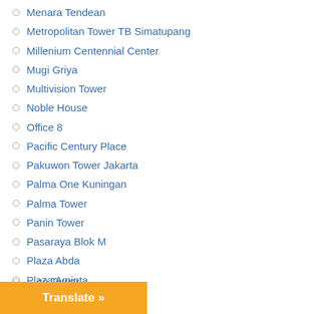Menara Tendean
Metropolitan Tower TB Simatupang
Millenium Centennial Center
Mugi Griya
Multivision Tower
Noble House
Office 8
Pacific Century Place
Pakuwon Tower Jakarta
Palma One Kuningan
Palma Tower
Panin Tower
Pasaraya Blok M
Plaza Abda
Plaza Aminta
Plaza Asia
Plaza Kuningan
Plaza Marein
Plaza Mutiara Kuningan
Plaza Oleos
Plaza Sentral
…ce Tower